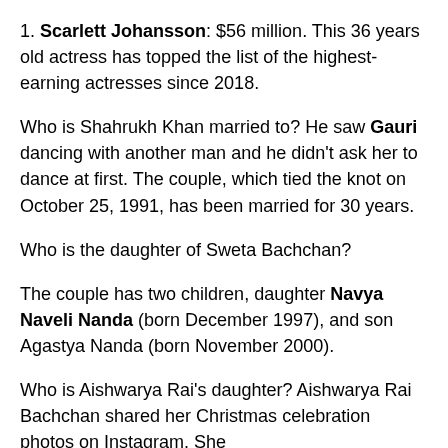1. Scarlett Johansson: $56 million. This 36 years old actress has topped the list of the highest-earning actresses since 2018.
Who is Shahrukh Khan married to? He saw Gauri dancing with another man and he didn't ask her to dance at first. The couple, which tied the knot on October 25, 1991, has been married for 30 years.
Who is the daughter of Sweta Bachchan?
The couple has two children, daughter Navya Naveli Nanda (born December 1997), and son Agastya Nanda (born November 2000).
Who is Aishwarya Rai's daughter? Aishwarya Rai Bachchan shared her Christmas celebration photos on Instagram. She